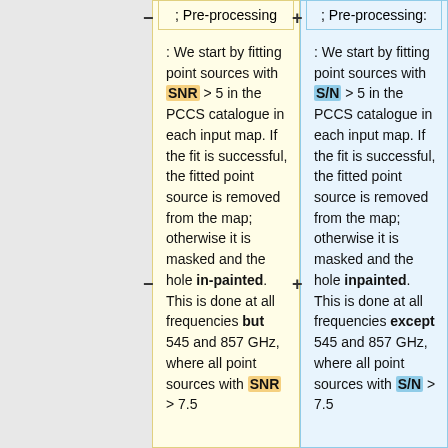− ; Pre-processing
+ ; Pre-processing:
: We start by fitting point sources with SNR > 5 in the PCCS catalogue in each input map. If the fit is successful, the fitted point source is removed from the map; otherwise it is masked and the hole in-painted. This is done at all frequencies but 545 and 857 GHz, where all point sources with SNR > 7.5
: We start by fitting point sources with S/N > 5 in the PCCS catalogue in each input map. If the fit is successful, the fitted point source is removed from the map; otherwise it is masked and the hole inpainted. This is done at all frequencies except 545 and 857 GHz, where all point sources with S/N > 7.5